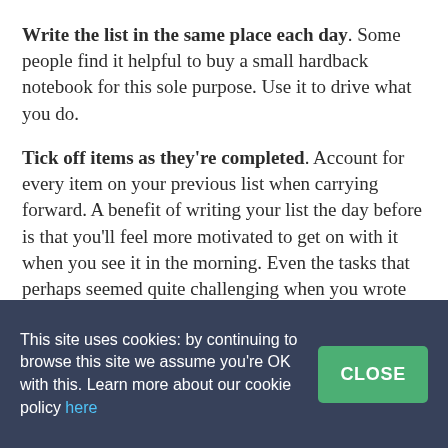Write the list in the same place each day. Some people find it helpful to buy a small hardback notebook for this sole purpose. Use it to drive what you do.
Tick off items as they're completed. Account for every item on your previous list when carrying forward. A benefit of writing your list the day before is that you'll feel more motivated to get on with it when you see it in the morning. Even the tasks that perhaps seemed quite challenging when you wrote them down yesterday, now seem slightly more
This site uses cookies: by continuing to browse this site we assume you're OK with this. Learn more about our cookie policy here